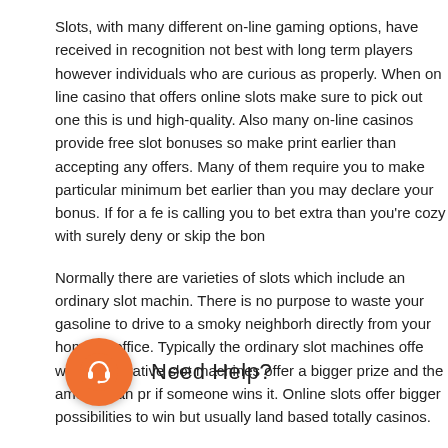Slots, with many different on-line gaming options, have received in recognition not best with long term players however individuals who are curious as properly. When searching out an on line casino that offers online slots make sure to pick out one this is underpinned with high-quality. Also many on-line casinos provide free slot bonuses so make sure to study the fine print earlier than accepting any offers. Many of them require you to make a deposit and gamble a particular minimum bet earlier than you may declare your bonus. If for a few reasons the bonus is calling you to bet extra than you're cozy with surely deny or skip the bonus altogether.
Normally there are varieties of slots which include an ordinary slot machine and an innovative. There is no purpose to waste your gasoline to drive to a smoky neighborhood casino when you play directly from your home or office. Typically the ordinary slot machines offer a smaller regular prize whilst innovative slot machines offer a bigger prize and the amount can progressively increase if someone wins it. Online slots offer bigger possibilities to win but usually smaller jackpots than land based totally casinos.
Also you may notice that most on line slots which can be modern would require you to guess max with a view to have a threat at prevailing the jackpot. So with this in thought if you are not looking that plenty cash for every spin you can want to stay with playing simplest the everyday slots. https://www.supravesh2020.com/ slot machines which have a fixed prize quantity.
[Figure (other): Chat widget with orange circular icon showing a chat/headset symbol and 'Need Help?' text label]
Depending to your non-public preference there are regularly many types of slot games available from fundamental hold'em kind video games to a variety of shapes or sym...